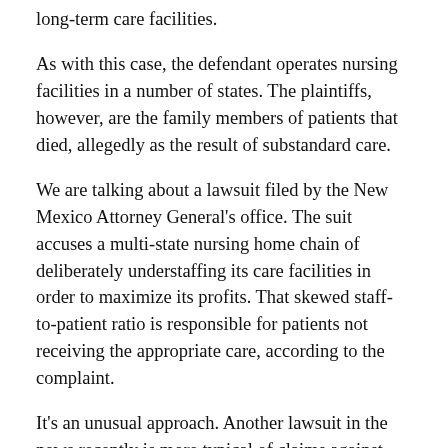long-term care facilities.
As with this case, the defendant operates nursing facilities in a number of states. The plaintiffs, however, are the family members of patients that died, allegedly as the result of substandard care.
We are talking about a lawsuit filed by the New Mexico Attorney General's office. The suit accuses a multi-state nursing home chain of deliberately understaffing its care facilities in order to maximize its profits. That skewed staff-to-patient ratio is responsible for patients not receiving the appropriate care, according to the complaint.
It's an unusual approach. Another lawsuit in the news recently is more typical of claims against short- and long-term care facilities.
As with this case, the defendant operates nursing facilities in a number of states. The plaintiffs, however,